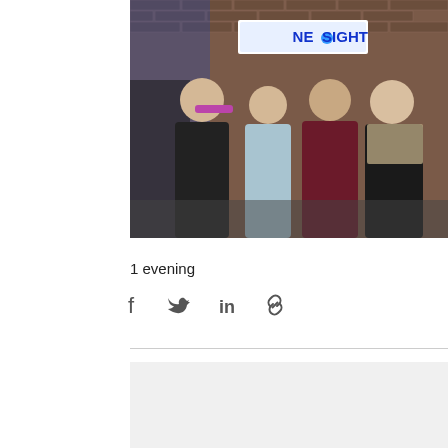[Figure (photo): Four people standing together in front of a brick wall with a sign reading 'NEVSIGHT' (partially obscured). One person wears a DELOS t-shirt. Blue lighting in background. Indoor venue setting.]
1 evening
[Figure (infographic): Social sharing icons: Facebook, Twitter, LinkedIn, and a link/chain icon]
[Figure (other): Gray rectangle at bottom of page]